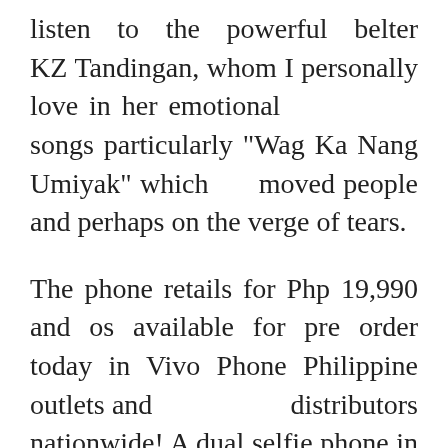listen to the powerful belter KZ Tandingan, whom I personally love in her emotional songs particularly "Wag Ka Nang Umiyak" which moved people and perhaps on the verge of tears.
The phone retails for Php 19,990 and os available for pre order today in Vivo Phone Philippine outlets and distributors nationwide! A dual selfie phone in this price range is